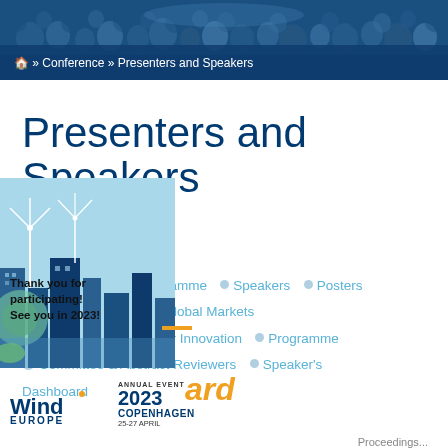[Figure (photo): Hero banner showing conference audience in a large hall with blue lighting]
🏠 » Conference » Presenters and Speakers
Presenters and Speakers
● Proceedings  ● Programme  ● Speakers  ● Posters  ● Content Partners  ● Global Markets Theatre  ● WindTalks for Innovation  ● Programme Committee & Abstract Reviewers  ● Speaker's Dashboard
[Figure (illustration): WindEurope conference illustration with wind turbines and city skyline in blue/green tones]
Thank you for participating! See you in 2023!
[Figure (logo): WindEurope Annual Event 2023 Copenhagen 25-27 April logo]